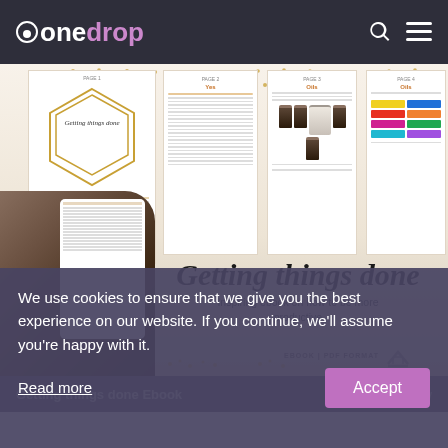onedrop
[Figure (screenshot): Ebook mockup showing 'Getting things done - Inspiring ebook on how to be more productive', with pages showing content and a hand holding a phone displaying the ebook]
Getting things done Ebook
We use cookies to ensure that we give you the best experience on our website. If you continue, we'll assume you're happy with it.
Read more
Accept
CLEANING CLASS